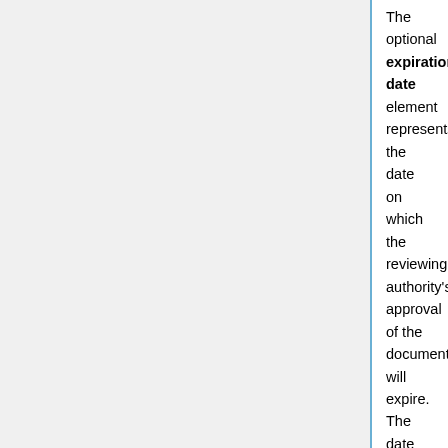The optional expiration-date element represents the date on which the reviewing authority's approval of the document will expire. The date must be coded in accordance with ISO 8601 (e.g., yyyy-mm-dd).
5.8.3 reviewing-authority
The reviewing-authority element contains the name of the institution or organization responsible for providing the independent peer review before publication.
5.8.4 reviewer
The optional reviewer element contains the name of the reviewer.
5.9 language
The optional language element specifies